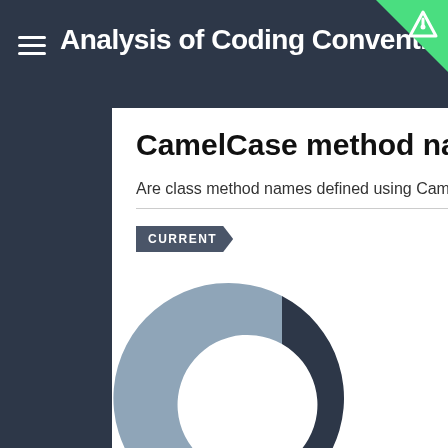Analysis of Coding Conventions for Code
CamelCase method name
Are class method names defined using CamelCase
CURRENT
[Figure (donut-chart): Donut chart showing CamelCase (dark, ~65%) vs other (light grey, ~35%) method naming conventions]